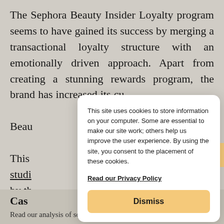The Sephora Beauty Insider Loyalty program seems to have gained its success by merging a transactional loyalty structure with an emotionally driven approach. Apart from creating a stunning rewards program, the brand has increased its cu... Beau...
This studi... by th...
This site uses cookies to store information on your computer. Some are essential to make our site work; others help us improve the user experience. By using the site, you consent to the placement of these cookies.
Read our Privacy Policy
Dismiss
Cas...
Read our analysis of some of the most popular loyalty